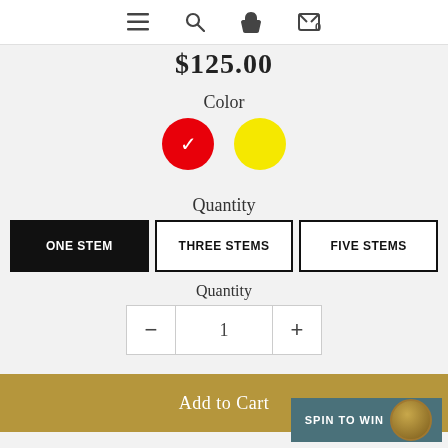Navigation bar with menu, search, account, and cart (0) icons
$125.00
Color
[Figure (other): Two color swatches: red circle with white checkmark (selected), yellow circle]
Quantity
ONE STEM (selected, black background)
THREE STEMS
FIVE STEMS
Quantity
- 1 +
Add to Cart
SPIN TO WIN